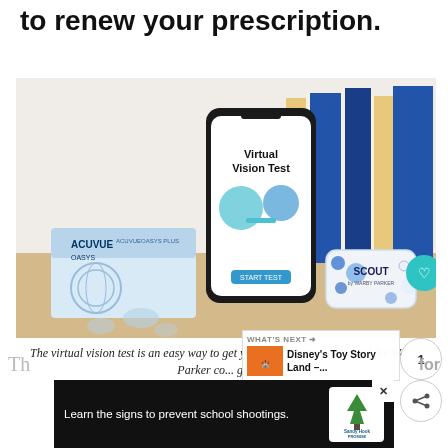to renew your prescription.
[Figure (photo): A smartphone displaying 'Virtual Vision Test' app screen, next to a box of ACUVUE OASYS contact lenses and a Scout by Warby Parker contact lens case, with books in the background.]
The virtual vision test is an easy way to get your prescriptions renewed for Warby Parker co... glasses.
[Figure (screenshot): What's Next panel showing Disney's Toy Story Land thumbnail and label.]
[Figure (screenshot): Advertisement banner: Learn the signs to prevent school shootings. Sandy Hook Promise logo.]
Th... for